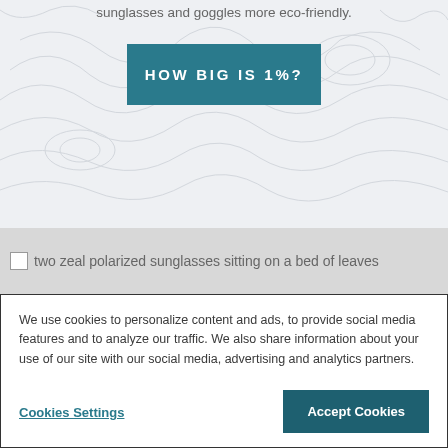sunglasses and goggles more eco-friendly.
HOW BIG IS 1%?
[Figure (photo): two zeal polarized sunglasses sitting on a bed of leaves]
We use cookies to personalize content and ads, to provide social media features and to analyze our traffic. We also share information about your use of our site with our social media, advertising and analytics partners.
Cookies Settings
Accept Cookies